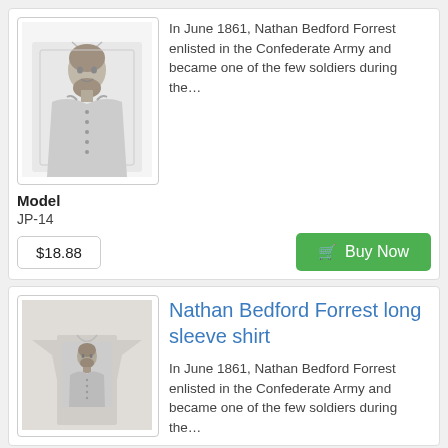[Figure (photo): Grayscale photo of a man in Confederate military uniform on a white t-shirt]
In June 1861, Nathan Bedford Forrest enlisted in the Confederate Army and became one of the few soldiers during the…
Model
JP-14
$18.88
Buy Now
[Figure (photo): Grayscale photo of a man in uniform printed on a long sleeve gray shirt]
Nathan Bedford Forrest long sleeve shirt
In June 1861, Nathan Bedford Forrest enlisted in the Confederate Army and became one of the few soldiers during the…